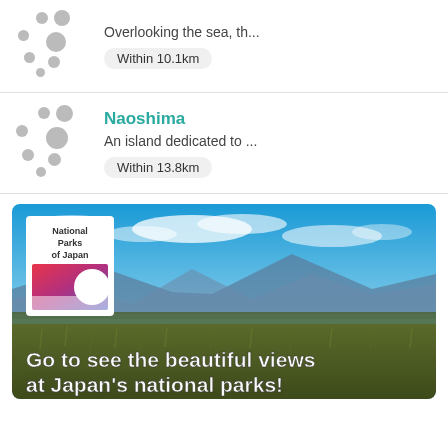Overlooking the sea, th... Within 10.1km
Naoshima
An island dedicated to ...
Within 13.8km
[Figure (illustration): National Parks of Japan promotional banner with scenic mountain and grassland landscape, white logo box top-left, text overlay: Go to see the beautiful views at Japan's national parks!]